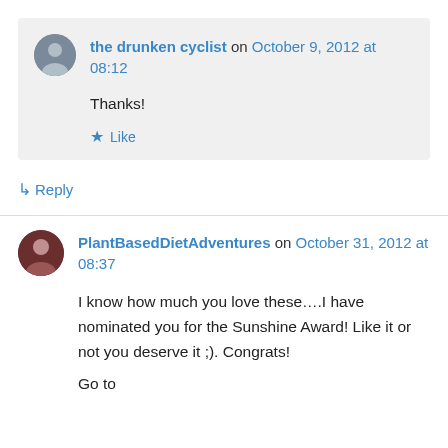the drunken cyclist on October 9, 2012 at 08:12
Thanks!
Like
Reply
PlantBasedDietAdventures on October 31, 2012 at 08:37
I know how much you love these....I have nominated you for the Sunshine Award! Like it or not you deserve it ;). Congrats!
Go to